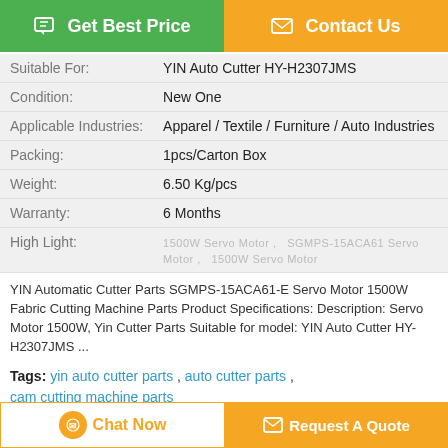[Figure (other): Get Best Price button (green) and Contact Us button (orange) at the top]
| Suitable For: | YIN Auto Cutter HY-H2307JMS |
| Condition: | New One |
| Applicable Industries: | Apparel / Textile / Furniture / Auto Industries |
| Packing: | 1pcs/Carton Box |
| Weight: | 6.50 Kg/pcs |
| Warranty: | 6 Months |
| High Light: | 1500W Servo Motor ,  SGMPS-15ACA61 Servo Motor ,  1500W Servo Motor |
YIN Automatic Cutter Parts SGMPS-15ACA61-E Servo Motor 1500W Fabric Cutting Machine Parts Product Specifications: Description: Servo Motor 1500W, Yin Cutter Parts Suitable for model: YIN Auto Cutter HY-H2307JMS ...
Tags: yin auto cutter parts , auto cutter parts , cam cutting machine parts
Product Description >
[Figure (other): Chat Now button (white with orange border) and Request A Quote button (orange) at the bottom]